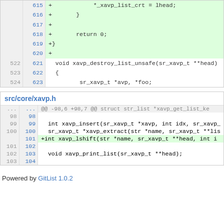[Figure (screenshot): Code diff showing lines 615-624 with added lines (green background) including *_xavp_list_crt = lhead, return 0, closing brace, and context lines for xavp_destroy_list_unsafe function]
src/core/xavp.h
[Figure (screenshot): Code diff for src/core/xavp.h showing lines 98-104 with added line +int xavp_lshift(str *name, sr_xavp_t **head, int i...]
Powered by GitList 1.0.2